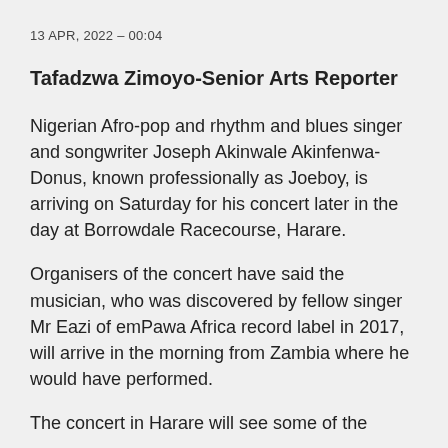13 APR, 2022 – 00:04
Tafadzwa Zimoyo-Senior Arts Reporter
Nigerian Afro-pop and rhythm and blues singer and songwriter Joseph Akinwale Akinfenwa-Donus, known professionally as Joeboy, is arriving on Saturday for his concert later in the day at Borrowdale Racecourse, Harare.
Organisers of the concert have said the musician, who was discovered by fellow singer Mr Eazi of emPawa Africa record label in 2017, will arrive in the morning from Zambia where he would have performed.
The concert in Harare will see some of the